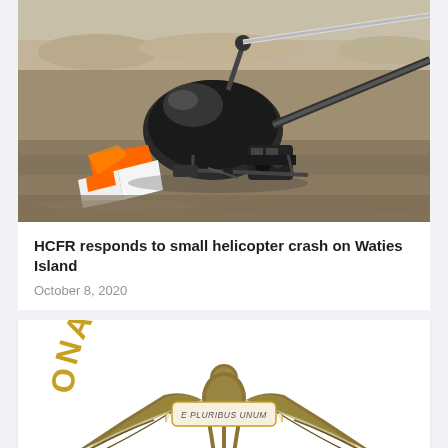[Figure (photo): Crashed small helicopter lying on its side on a beach, with rotor blade bent and wreckage partially in shallow water. Parts colored orange and white visible in foreground.]
HCFR responds to small helicopter crash on Waties Island
October 8, 2020
[Figure (logo): National Transportation Safety Board (NTSB) circular seal logo showing an eagle with spread wings, 'E PLURIBUS UNUM' ribbon banner, and the text 'ONAL TRANSPORTA' visible around the circular border in gold.]